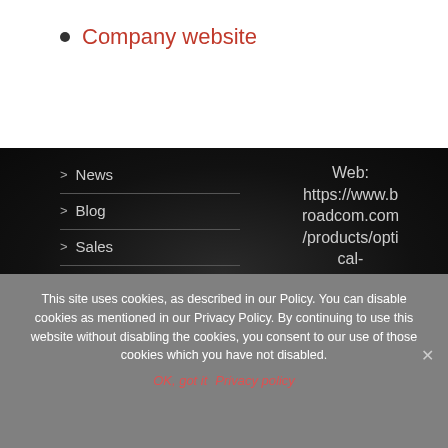Company website
> News
> Blog
> Sales
> Resource Centre
Web: https://www.broadcom.com/products/optical-sensors/pyroelectric
This site uses cookies, as described in our Policy. You can disable cookies as mentioned in our Privacy Policy. By continuing to use this website without disabling the cookies, you consent to our use of those cookies which you have not disabled.
OK, got it  Privacy policy